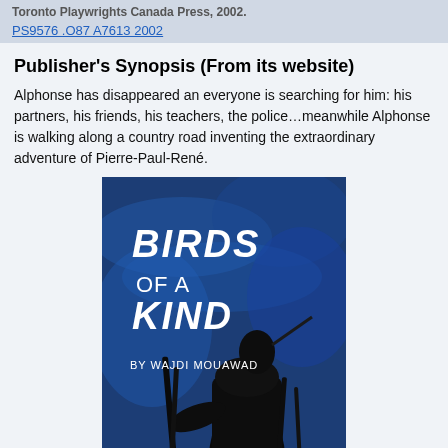Toronto Playwrights Canada Press, 2002.
PS9576 .O87 A7613 2002
Publisher's Synopsis (From its website)
Alphonse has disappeared an everyone is searching for him: his partners, his friends, his teachers, the police…meanwhile Alphonse is walking along a country road inventing the extraordinary adventure of Pierre-Paul-René.
[Figure (photo): Book cover of 'Birds of a Kind' by Wajdi Mouawad. Dark blue painted background with black bird silhouette and handwritten-style white text reading 'BIRDS OF A KIND BY WAJDI MOUAWAD'.]